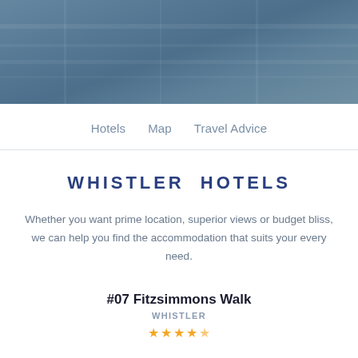[Figure (photo): Hero image of a building/hotel exterior with a blue-grey toned overlay]
Hotels   Map   Travel Advice
WHISTLER HOTELS
Whether you want prime location, superior views or budget bliss, we can help you find the accommodation that suits your every need.
#07 Fitzsimmons Walk
WHISTLER
★★★★☆